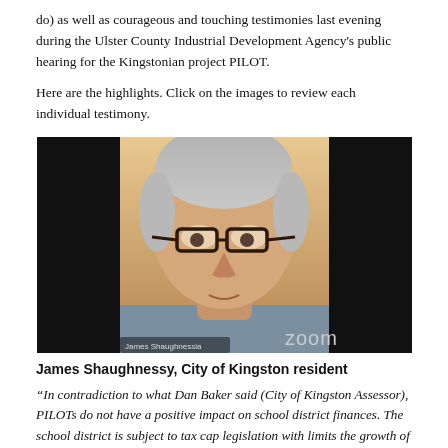do) as well as courageous and touching testimonies last evening during the Ulster County Industrial Development Agency's public hearing for the Kingstonian project PILOT.
Here are the highlights. Click on the images to review each individual testimony.
[Figure (photo): Screenshot of a Zoom video call showing James Shaughnessy, an older man with grey hair and glasses, speaking. The Zoom logo is visible in the lower right corner and his name 'James Shaughnessia' appears in the lower left corner.]
James Shaughnessy, City of Kingston resident
“In contradiction to what Dan Baker said (City of Kingston Assessor), PILOTs do not have a positive impact on school district finances. The school district is subject to tax cap legislation with limits the growth of